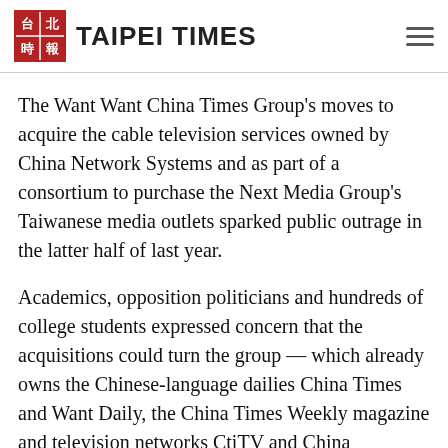TAIPEI TIMES
The Want Want China Times Group’s moves to acquire the cable television services owned by China Network Systems and as part of a consortium to purchase the Next Media Group’s Taiwanese media outlets sparked public outrage in the latter half of last year.
Academics, opposition politicians and hundreds of college students expressed concern that the acquisitions could turn the group — which already owns the Chinese-language dailies China Times and Want Daily, the China Times Weekly magazine and television networks CtiTV and China Television — into a “media monster.”
Youth Alliance Against Media Monsters members Hung Chung-yen, front left, Huang Ching-hao,